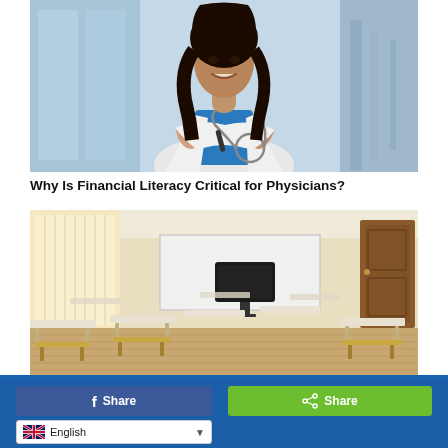[Figure (photo): A smiling female physician in a white coat with a stethoscope, standing in a medical facility with glass windows in the background.]
Why Is Financial Literacy Critical for Physicians?
[Figure (photo): An empty classroom with wooden student desks and chairs, a large flat-screen monitor at the front, a whiteboard, and a wooden door.]
Share  Share  English